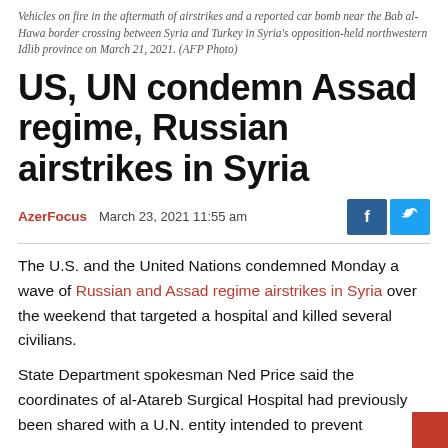Vehicles on fire in the aftermath of airstrikes and a reported car bomb near the Bab al-Hawa border crossing between Syria and Turkey in Syria's opposition-held northwestern Idlib province on March 21, 2021. (AFP Photo)
US, UN condemn Assad regime, Russian airstrikes in Syria
AzerFocus   March 23, 2021 11:55 am
The U.S. and the United Nations condemned Monday a wave of Russian and Assad regime airstrikes in Syria over the weekend that targeted a hospital and killed several civilians.
State Department spokesman Ned Price said the coordinates of al-Atareb Surgical Hospital had previously been shared with a U.N. entity intended to prevent